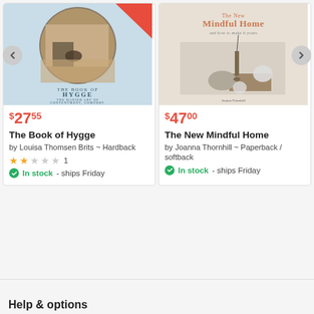[Figure (photo): Book cover: The Book of Hygge - The Danish Art of Contentment, Comfort, and Connection, by Louisa Thomsen Brits]
$27.55
The Book of Hygge
by Louisa Thomsen Brits ~ Hardback
★★☆☆☆ 1
✔ In stock - ships Friday
[Figure (photo): Book cover: The New Mindful Home - and how to make it yours, by Joanna Thornhill]
$47.00
The New Mindful Home
by Joanna Thornhill ~ Paperback / softback
✔ In stock - ships Friday
Help & options